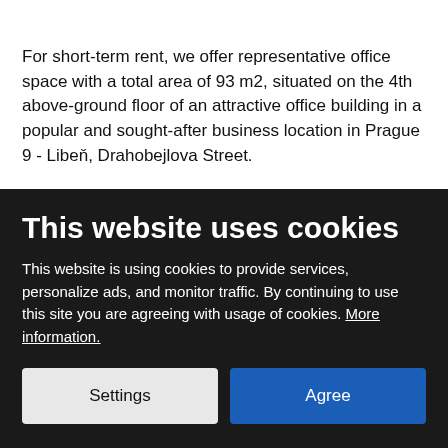For short-term rent, we offer representative office space with a total area of 93 m2, situated on the 4th above-ground floor of an attractive office building in a popular and sought-after business location in Prague 9 - Libeň, Drahobejlova Street.
Excellent transport accessibility - tram stop Divadlo Gong, metro B - Českomoravská and complete civic amenities (nearby is the O2 arena and Harfa Gallery).
This website uses cookies
This website is using cookies to provide services, personalize ads, and monitor traffic. By continuing to use this site you are agreeing with usage of cookies. More information.
Settings
Agree